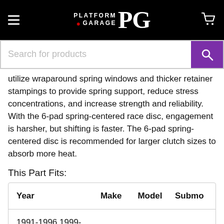Platform Garage PG
utilize wraparound spring windows and thicker retainer stampings to provide spring support, reduce stress concentrations, and increase strength and reliability. With the 6-pad spring-centered race disc, engagement is harsher, but shifting is faster. The 6-pad spring-centered disc is recommended for larger clutch sizes to absorb more heat.
This Part Fits:
| Year | Make | Model | Submo |
| --- | --- | --- | --- |
| 1991-1996,1999-2002 | Infiniti | G20 | Base |